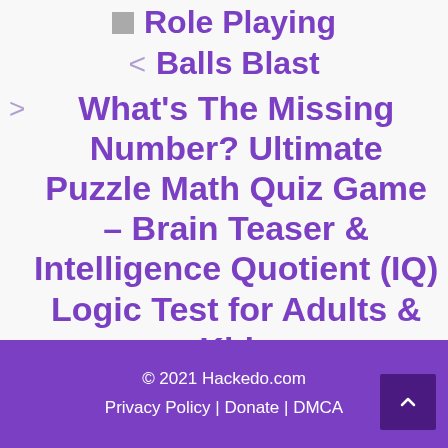Role Playing
< Balls Blast
> What's The Missing Number? Ultimate Puzzle Math Quiz Game – Brain Teaser & Intelligence Quotient (IQ) Logic Test for Adults & Kids
© 2021 Hackedo.com
Privacy Policy | Donate | DMCA